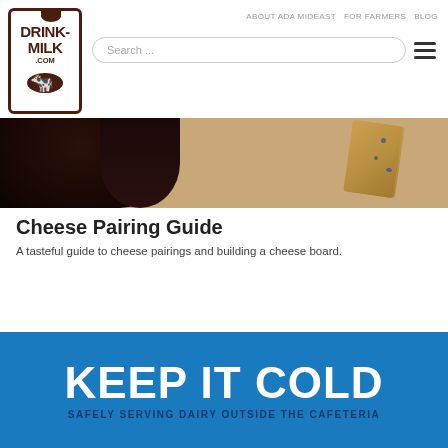[Figure (logo): Drink-Milk.com logo — milk carton shape with brown border, text DRINK-MILK .com and cow silhouette]
ABOUT ADA MIDEAST   FOR FARMERS   BLOG
[Figure (screenshot): Search bar with placeholder text 'Search ...' and hamburger menu icon]
[Figure (photo): Photo of a dark wine glass and a wedge of blue cheese on a light background]
Cheese Pairing Guide
A tasteful guide to cheese pairings and building a cheese board.
[Figure (infographic): Blue banner infographic reading KEEP IT COLD / SAFELY SERVING DAIRY OUTSIDE THE CAFETERIA]